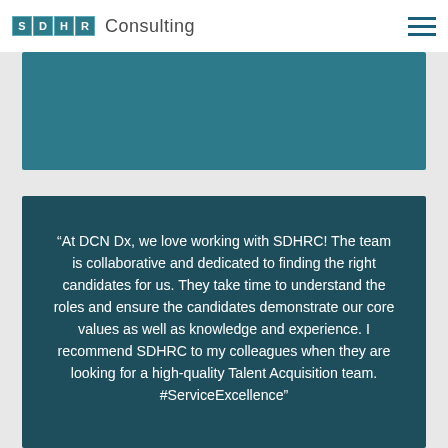SDHR Consulting
[Figure (other): Teal/dark teal banner image placeholder at top of page]
“At DCN Dx, we love working with SDHRC! The team is collaborative and dedicated to finding the right candidates for us. They take time to understand the roles and ensure the candidates demonstrate our core values as well as knowledge and experience. I recommend SDHRC to my colleagues when they are looking for a high-quality Talent Acquisition team. #ServiceExcellence”